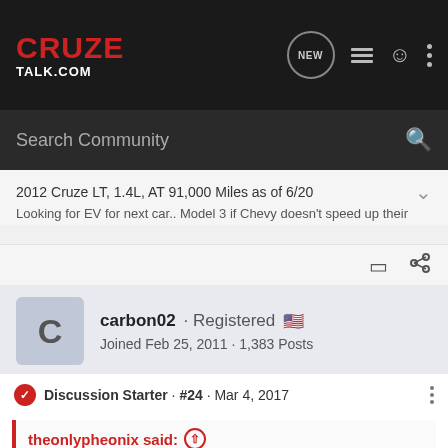CRUZE TALK.COM
Search Community
2012 Cruze LT, 1.4L, AT 91,000 Miles as of 6/20
Looking for EV for next car.. Model 3 if Chevy doesn't speed up their
carbon02 · Registered 🇺🇸 Joined Feb 25, 2011 · 1,383 Posts
Discussion Starter · #24 · Mar 4, 2017
theonlypheonix said: Found shelf full of Pennzoil Euro L (dexos2) 5qt 5W30 bottles at local Wally Word in small town Northern IL US for $24.04 including tax. What a bargain compare to the amazon prices I've been paying.:go: Now I hope they start carrying discount oil filters:3tens: